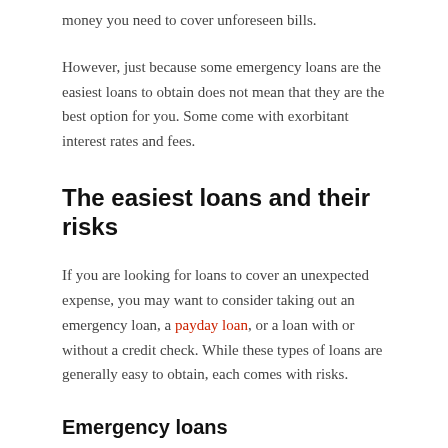money you need to cover unforeseen bills.
However, just because some emergency loans are the easiest loans to obtain does not mean that they are the best option for you. Some come with exorbitant interest rates and fees.
The easiest loans and their risks
If you are looking for loans to cover an unexpected expense, you may want to consider taking out an emergency loan, a payday loan, or a loan with or without a credit check. While these types of loans are generally easy to obtain, each comes with risks.
Emergency loans
An emergency loan is a personal loan used to cover unforeseen expenses, such as medical bills or auto repair bills. Lenders generally allow you to borrow $ 1,000 or more; some lenders